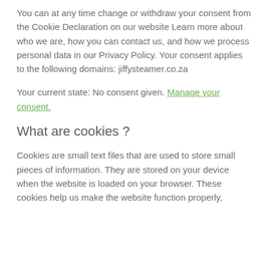You can at any time change or withdraw your consent from the Cookie Declaration on our website Learn more about who we are, how you can contact us, and how we process personal data in our Privacy Policy. Your consent applies to the following domains: jiffysteamer.co.za
Your current state: No consent given. Manage your consent.
What are cookies ?
Cookies are small text files that are used to store small pieces of information. They are stored on your device when the website is loaded on your browser. These cookies help us make the website function properly,